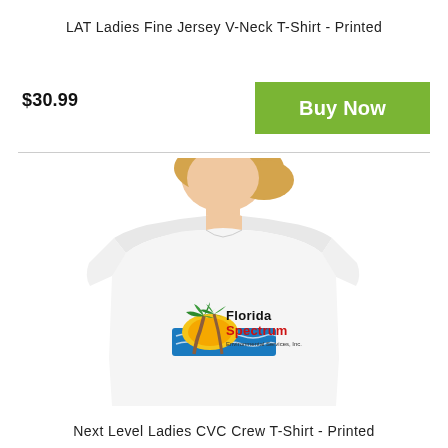LAT Ladies Fine Jersey V-Neck T-Shirt - Printed
$30.99
Buy Now
[Figure (photo): White ladies crew neck t-shirt worn by a blonde woman, featuring the Florida Spectrum Environmental Services, Inc. logo on the chest]
Next Level Ladies CVC Crew T-Shirt - Printed